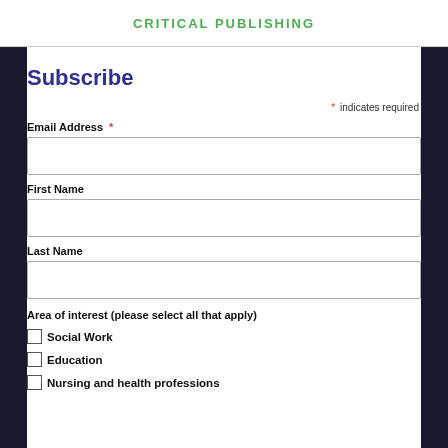CRITICAL PUBLISHING
Subscribe
* indicates required
Email Address *
First Name
Last Name
Area of interest (please select all that apply)
Social Work
Education
Nursing and health professions